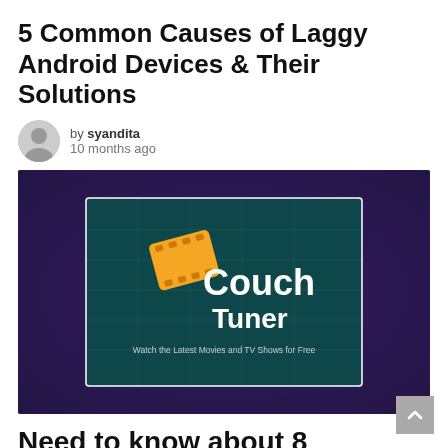5 Common Causes of Laggy Android Devices & Their Solutions
by syandita
10 months ago
[Figure (screenshot): CouchTuner logo on a dark teal background with film strip icon and tagline 'Watch the Latest Movies and TV Shows for Free', all inside a dark purple/blue background image]
Need to know about 8 Couchtuner